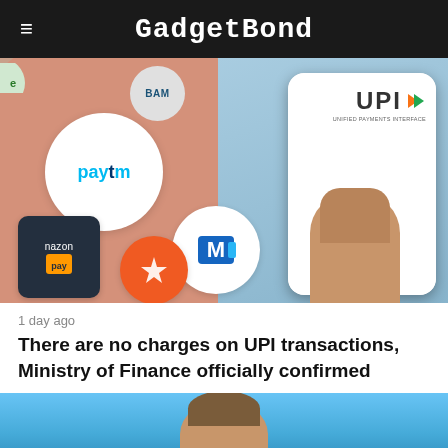GadgetBond
[Figure (photo): Collage of UPI payment app logos including Paytm, MobiKwik, Amazon Pay, FreeCharge, and a hand holding a smartphone displaying the UPI (Unified Payments Interface) logo]
1 day ago
There are no charges on UPI transactions, Ministry of Finance officially confirmed
[Figure (photo): Partial image of a person's head against a blue sky background]